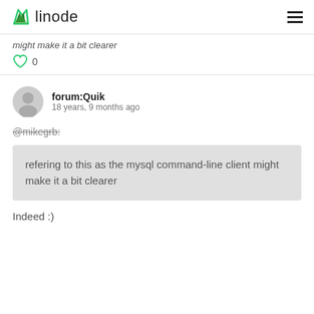linode
might make it a bit clearer
0
forum:Quik
18 years, 9 months ago
@mikegrb:
refering to this as the mysql command-line client might make it a bit clearer
Indeed :)